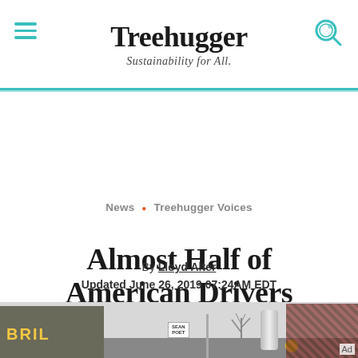Treehugger — Sustainability for All.
News • Treehugger Voices
Almost Half of American Drivers Don't Bother Using Their Turn Signals
By Lloyd Alter
Updated June 26, 2019 07:24AM EDT
[Figure (photo): Street scene showing urban intersection with a brick building bearing BRIL signage, street signs, traffic lights, and a cylindrical pole.]